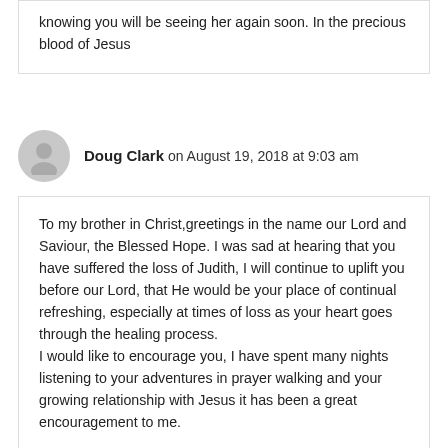knowing you will be seeing her again soon. In the precious blood of Jesus
Doug Clark on August 19, 2018 at 9:03 am
To my brother in Christ,greetings in the name our Lord and Saviour, the Blessed Hope. I was sad at hearing that you have suffered the loss of Judith, I will continue to uplift you before our Lord, that He would be your place of continual refreshing, especially at times of loss as your heart goes through the healing process.
I would like to encourage you, I have spent many nights listening to your adventures in prayer walking and your growing relationship with Jesus it has been a great encouragement to me.